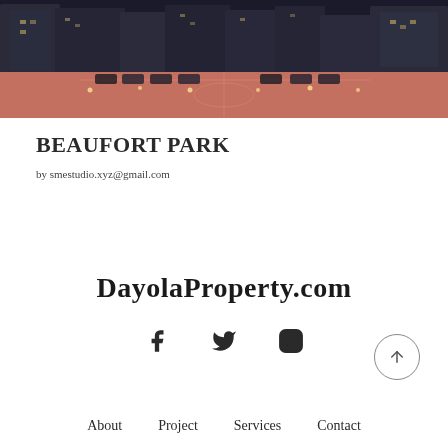[Figure (photo): Aerial/ground-level view of Beaufort Park development at dusk showing a large open paved court area with parked cars and residential buildings in the background]
BEAUFORT PARK
by smestudio.xyz@gmail.com
DayolaProperty.com
[Figure (other): Social media icons: Facebook, Twitter, Instagram]
About
Project
Services
Contact